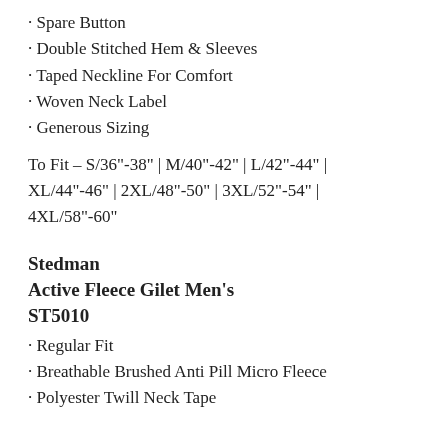· Spare Button
· Double Stitched Hem & Sleeves
· Taped Neckline For Comfort
· Woven Neck Label
· Generous Sizing
To Fit – S/36"-38" | M/40"-42" | L/42"-44" | XL/44"-46" | 2XL/48"-50" | 3XL/52"-54" | 4XL/58"-60"
Stedman
Active Fleece Gilet Men's
ST5010
· Regular Fit
· Breathable Brushed Anti Pill Micro Fleece
· Polyester Twill Neck Tape